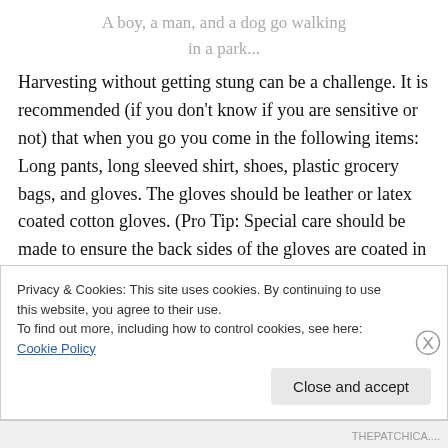A boy, a man, and a dog go walking in a park...
Harvesting without getting stung can be a challenge. It is recommended (if you don't know if you are sensitive or not) that when you go you come in the following items: Long pants, long sleeved shirt, shoes, plastic grocery bags, and gloves. The gloves should be leather or latex coated cotton gloves. (Pro Tip: Special care should be made to ensure the back sides of the gloves are coated in latex also. Particularly the fingers.) Additional protection
Privacy & Cookies: This site uses cookies. By continuing to use this website, you agree to their use.
To find out more, including how to control cookies, see here: Cookie Policy